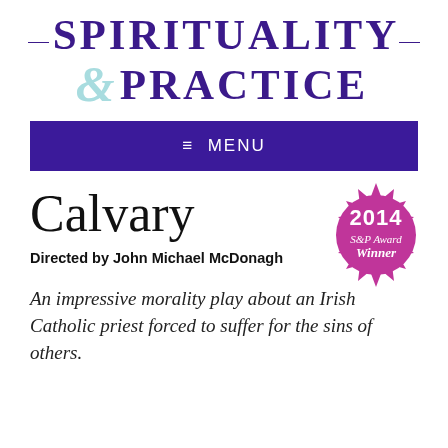SPIRITUALITY & PRACTICE
≡ MENU
Calvary
Directed by John Michael McDonagh
[Figure (illustration): Circular badge/seal in magenta/pink color reading '2014 S&P Award Winner']
An impressive morality play about an Irish Catholic priest forced to suffer for the sins of others.